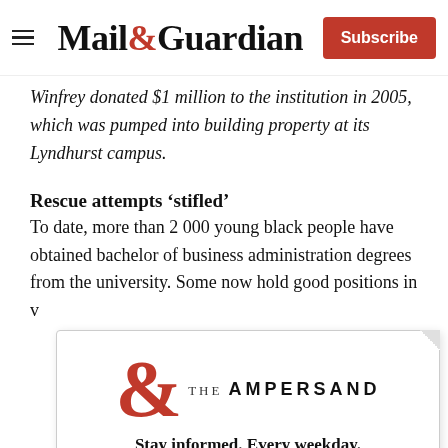Mail&Guardian | Subscribe
Winfrey donated $1 million to the institution in 2005, which was pumped into building property at its Lyndhurst campus.
Rescue attempts 'stifled'
To date, more than 2 000 young black people have obtained bachelor of business administration degrees from the university. Some now hold good positions in v
[Figure (logo): The Ampersand newsletter logo — large red ampersand symbol with 'THE AMPERSAND' text]
Stay informed. Every weekday.